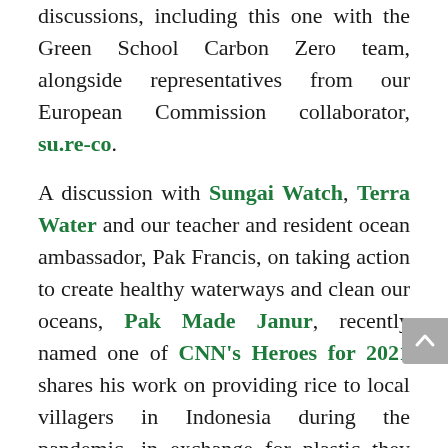discussions, including this one with the Green School Carbon Zero team, alongside representatives from our European Commission collaborator, su.re-co.
A discussion with Sungai Watch, Terra Water and our teacher and resident ocean ambassador, Pak Francis, on taking action to create healthy waterways and clean our oceans, Pak Made Janur, recently named one of CNN's Heroes for 2021 shares his work on providing rice to local villagers in Indonesia during the pandemic, in exchange for plastic they collected around the island.
“We were able to see a variety of workshops given by different experts and climate activists.